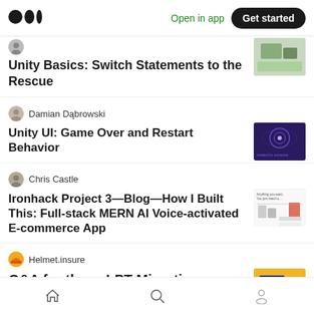Medium logo | Open in app | Get started
Unity Basics: Switch Statements to the Rescue
Damian Dąbrowski
Unity UI: Game Over and Restart Behavior
Chris Castle
Ironhack Project 3—Blog—How I Built This: Full-stack MERN AI Voice-activated E-commerce App
Helmet.insure
Q&A for the    LPT Migration
Home | Search | Profile